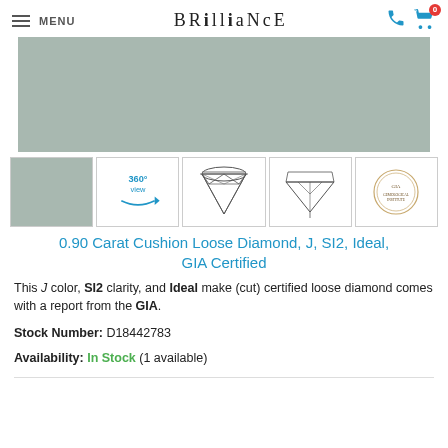MENU | BRILLIANCE
[Figure (photo): Large main product image of a diamond on grey-green background]
[Figure (photo): Thumbnail: photo of diamond]
[Figure (other): Thumbnail: 360 degree view icon]
[Figure (illustration): Thumbnail: top-view cushion diamond diagram]
[Figure (illustration): Thumbnail: side-view diamond diagram]
[Figure (illustration): Thumbnail: GIA certification seal]
0.90 Carat Cushion Loose Diamond, J, SI2, Ideal, GIA Certified
This J color, SI2 clarity, and Ideal make (cut) certified loose diamond comes with a report from the GIA.
Stock Number: D18442783
Availability: In Stock (1 available)